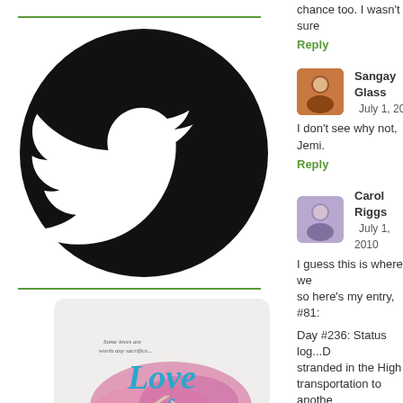[Figure (logo): Twitter bird logo in white on black circle]
[Figure (photo): Book cover: Love for Two Lifetimes with watercolor hands and pink splash]
chance too. I wasn't sure
Reply
Sangay Glass  July 1, 20
I don't see why not, Jemi.
Reply
Carol Riggs  July 1, 2010
I guess this is where we so here's my entry, #81:
Day #236: Status log...D stranded in the High transportation to anothe supplies low.
Whap!
Dark Troy flinched and lo frown pinned him to his s
Reply